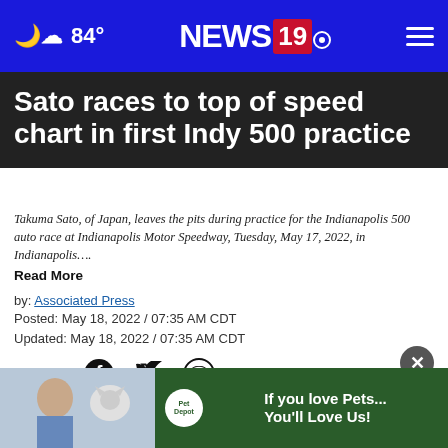84° NEWS 19
Sato races to top of speed chart in first Indy 500 practice
Takuma Sato, of Japan, leaves the pits during practice for the Indianapolis 500 auto race at Indianapolis Motor Speedway, Tuesday, May 17, 2022, in Indianapolis….
Read More
by: Associated Press
Posted: May 18, 2022 / 07:35 AM CDT
Updated: May 18, 2022 / 07:35 AM CDT
SHARE
INDIA
winner, Takuma Sato shot to the top of the speed
[Figure (photo): Advertisement banner: Pet Depot 'If you love Pets... You'll Love Us!']